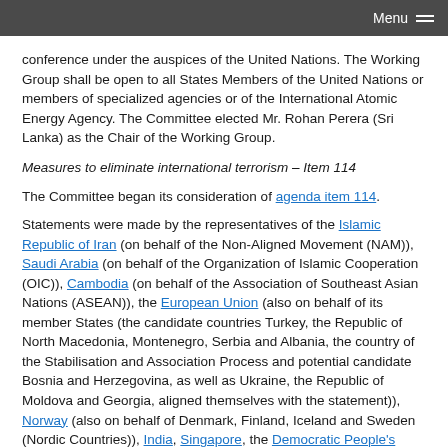Menu
conference under the auspices of the United Nations. The Working Group shall be open to all States Members of the United Nations or members of specialized agencies or of the International Atomic Energy Agency. The Committee elected Mr. Rohan Perera (Sri Lanka) as the Chair of the Working Group.
Measures to eliminate international terrorism – Item 114
The Committee began its consideration of agenda item 114.
Statements were made by the representatives of the Islamic Republic of Iran (on behalf of the Non-Aligned Movement (NAM)), Saudi Arabia (on behalf of the Organization of Islamic Cooperation (OIC)), Cambodia (on behalf of the Association of Southeast Asian Nations (ASEAN)), the European Union (also on behalf of its member States (the candidate countries Turkey, the Republic of North Macedonia, Montenegro, Serbia and Albania, the country of the Stabilisation and Association Process and potential candidate Bosnia and Herzegovina, as well as Ukraine, the Republic of Moldova and Georgia, aligned themselves with the statement)), Norway (also on behalf of Denmark, Finland, Iceland and Sweden (Nordic Countries)), India, Singapore, the Democratic People's Republic of Korea, Pakistan, Argentina, Colombia, Honduras,